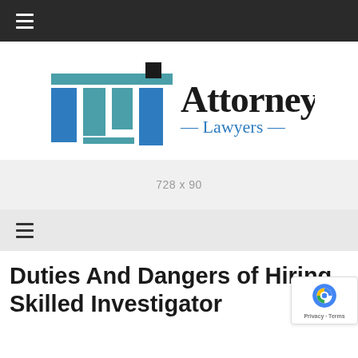[Figure (logo): Navigation bar with hamburger menu icon (dark background, three horizontal white lines)]
[Figure (logo): Attorney Lawyers logo: columns icon in blue/teal on left, 'Attorney' in large serif black text, '— Lawyers —' in teal below]
[Figure (other): Ad banner placeholder showing '728 x 90' in gray text on light gray background]
[Figure (other): Second navigation bar with hamburger menu icon on light gray background]
Duties And Dangers of Hiring Skilled Investigator